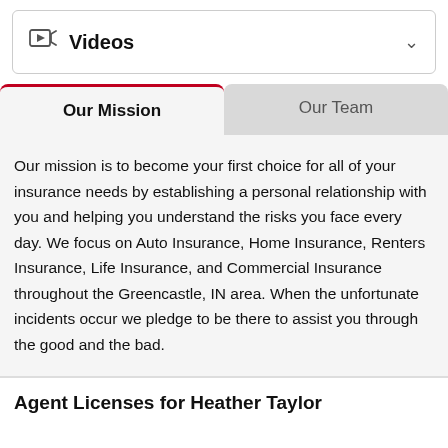Videos
Our Mission
Our Team
Our mission is to become your first choice for all of your insurance needs by establishing a personal relationship with you and helping you understand the risks you face every day. We focus on Auto Insurance, Home Insurance, Renters Insurance, Life Insurance, and Commercial Insurance throughout the Greencastle, IN area. When the unfortunate incidents occur we pledge to be there to assist you through the good and the bad.
Agent Licenses for Heather Taylor